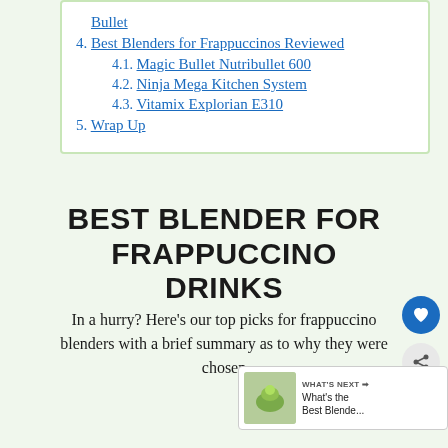Bullet
4. Best Blenders for Frappuccinos Reviewed
4.1. Magic Bullet Nutribullet 600
4.2. Ninja Mega Kitchen System
4.3. Vitamix Explorian E310
5. Wrap Up
BEST BLENDER FOR FRAPPUCCINO DRINKS
In a hurry? Here's our top picks for frappuccino blenders with a brief summary as to why they were chosen